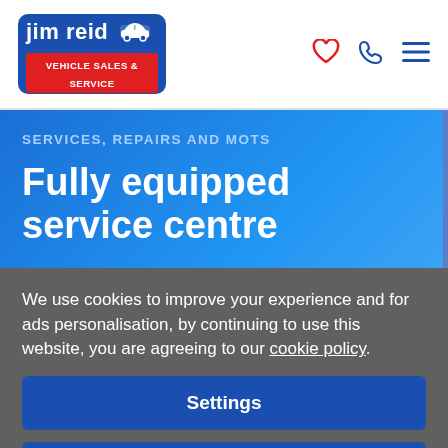[Figure (logo): Jim Reid Vehicle Sales & Service logo — blue rounded rectangle with white text 'jim reid' and a car icon, red banner below reading 'vehicle sales & service']
SERVICES, REPAIRS AND MOTS
Fully equipped service centre
We use cookies to improve your experience and for ads personalisation, by continuing to use this website, you are agreeing to our cookie policy.
Settings
Accept all